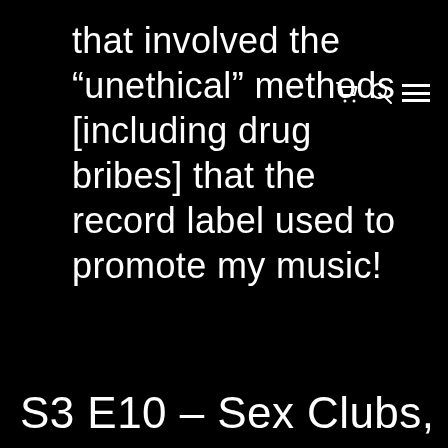that involved the "unethical" methods [including drug bribes] that the record label used to promote my music!
S3 E10 – Sex Clubs, Back